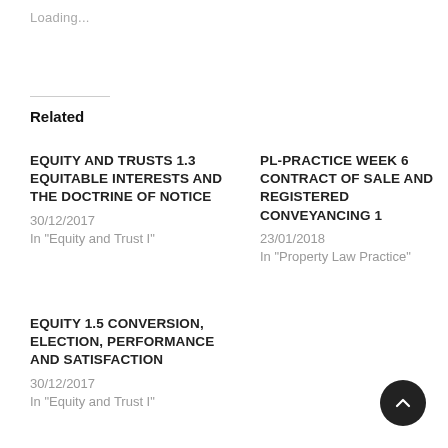Loading...
Related
EQUITY AND TRUSTS 1.3 EQUITABLE INTERESTS AND THE DOCTRINE OF NOTICE
30/12/2017
In "Equity and Trust I"
PL-PRACTICE WEEK 6 CONTRACT OF SALE AND REGISTERED CONVEYANCING 1
23/01/2018
In "Property Law Practice"
EQUITY 1.5 CONVERSION, ELECTION, PERFORMANCE AND SATISFACTION
30/12/2017
In "Equity and Trust I"